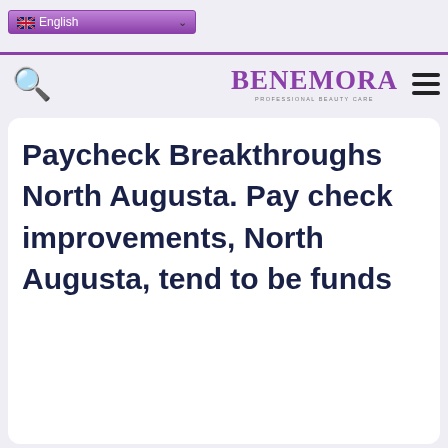English [flag] [dropdown]
[Figure (logo): BENEMORA professional beauty care logo in purple, with search icon and hamburger menu]
Paycheck Breakthroughs North Augusta. Pay check improvements, North Augusta, tend to be funds